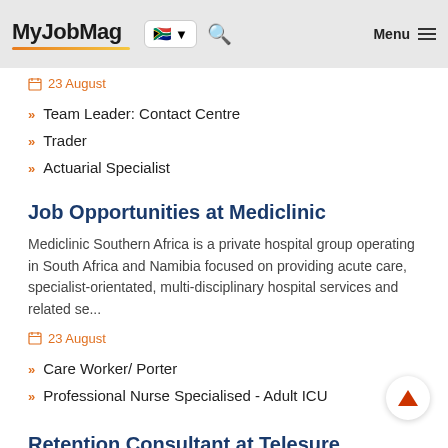MyJobMag
23 August
Team Leader: Contact Centre
Trader
Actuarial Specialist
Job Opportunities at Mediclinic
Mediclinic Southern Africa is a private hospital group operating in South Africa and Namibia focused on providing acute care, specialist-orientated, multi-disciplinary hospital services and related se...
23 August
Care Worker/ Porter
Professional Nurse Specialised - Adult ICU
Retention Consultant at Telesure Investment Holdings (TIH)